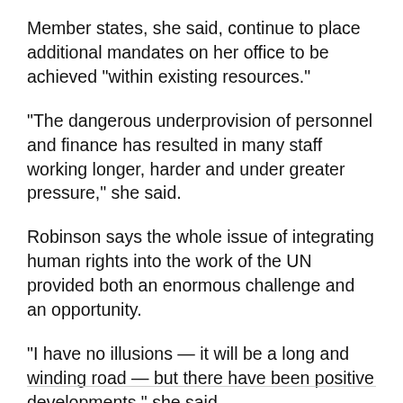Member states, she said, continue to place additional mandates on her office to be achieved "within existing resources."
"The dangerous underprovision of personnel and finance has resulted in many staff working longer, harder and under greater pressure," she said.
Robinson says the whole issue of integrating human rights into the work of the UN provided both an enormous challenge and an opportunity.
"I have no illusions — it will be a long and winding road — but there have been positive developments," she said.